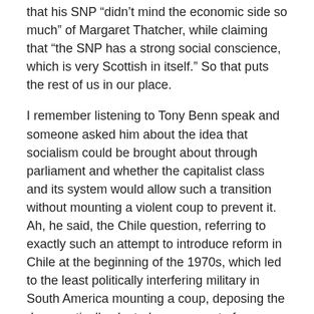that his SNP “didn’t mind the economic side so much” of Margaret Thatcher, while claiming that “the SNP has a strong social conscience, which is very Scottish in itself.” So that puts the rest of us in our place.
I remember listening to Tony Benn speak and someone asked him about the idea that socialism could be brought about through parliament and whether the capitalist class and its system would allow such a transition without mounting a violent coup to prevent it.  Ah, he said, the Chile question, referring to exactly such an attempt to introduce reform in Chile at the beginning of the 1970s, which led to the least politically interfering military in South America mounting a coup, deposing the democratically elected government of Salvador Allende and murdering thousands and thousands of workers and socialists.